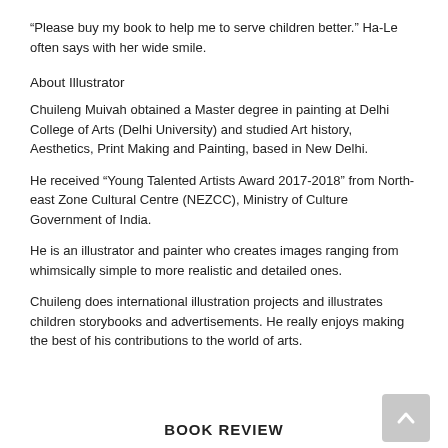“Please buy my book to help me to serve children better.” Ha-Le often says with her wide smile.
About Illustrator
Chuileng Muivah obtained a Master degree in painting at Delhi College of Arts (Delhi University) and studied Art history, Aesthetics, Print Making and Painting, based in New Delhi.
He received “Young Talented Artists Award 2017-2018” from North-east Zone Cultural Centre (NEZCC), Ministry of Culture Government of India.
He is an illustrator and painter who creates images ranging from whimsically simple to more realistic and detailed ones.
Chuileng does international illustration projects and illustrates children storybooks and advertisements. He really enjoys making the best of his contributions to the world of arts.
BOOK REVIEW